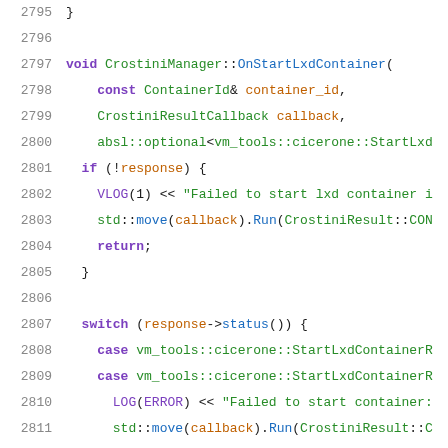2795  }
2796
2797  void CrostiniManager::OnStartLxdContainer(
2798      const ContainerId& container_id,
2799      CrostiniResultCallback callback,
2800      absl::optional<vm_tools::cicerone::StartLxd
2801    if (!response) {
2802      VLOG(1) << "Failed to start lxd container i
2803      std::move(callback).Run(CrostiniResult::CON
2804      return;
2805    }
2806
2807    switch (response->status()) {
2808      case vm_tools::cicerone::StartLxdContainerR
2809      case vm_tools::cicerone::StartLxdContainerR
2810        LOG(ERROR) << "Failed to start container:
2811        std::move(callback).Run(CrostiniResult::C
2812        break;
2813
2814      case vm_tools::cicerone::StartLxdContainerR
2815      case vm_tools::cicerone::StartLxdContainerR
2816        std::move(callback).Run(CrostiniResult::S